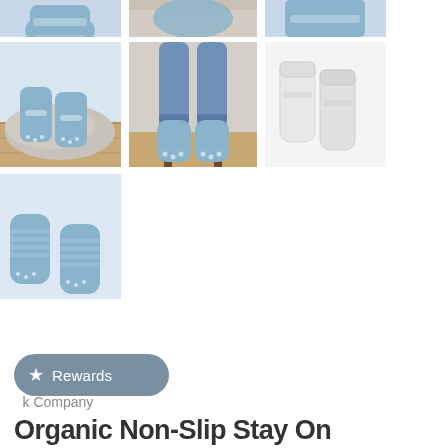[Figure (photo): Grid of product photos showing blue baby/toddler non-slip socks in various settings: on fur rug, on child sitting on chair, white socks flat lay, and a single pair of striped blue socks]
The Sock Company
Organic Non-Slip Stay On